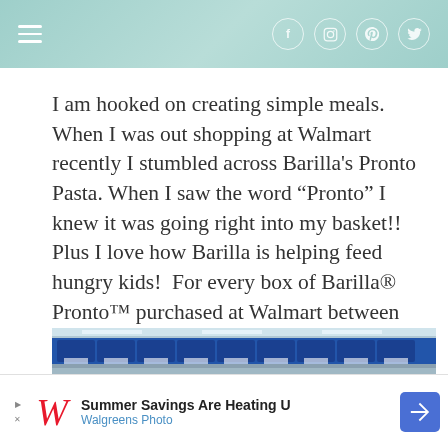Navigation bar with hamburger menu and social icons (Facebook, Instagram, Pinterest, Twitter)
I am hooked on creating simple meals.  When I was out shopping at Walmart recently I stumbled across Barilla's Pronto Pasta. When I saw the word “Pronto” I knew it was going right into my basket!!  Plus I love how Barilla is helping feed hungry kids!  For every box of Barilla® Pronto™ purchased at Walmart between 7/31/2016 and 10/31/2016, Barilla® will donate 10 meals to kids in need through No Kid Hungry, up to half-a-million meals.*
[Figure (photo): Shelves stocked with blue Barilla Pronto pasta boxes at a Walmart store]
[Figure (screenshot): Walgreens Photo advertisement banner: 'Summer Savings Are Heating Up' with Walgreens logo and blue directional badge]